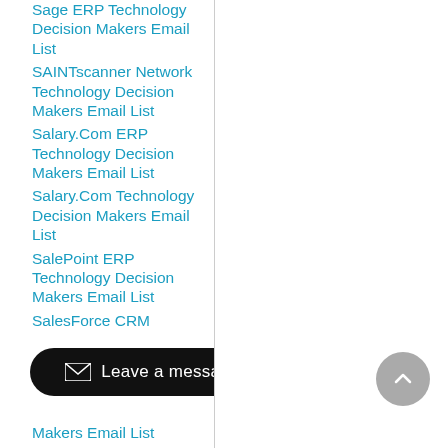Sage ERP Technology Decision Makers Email List
SAINTscanner Network Technology Decision Makers Email List
Salary.Com ERP Technology Decision Makers Email List
Salary.Com Technology Decision Makers Email List
SalePoint ERP Technology Decision Makers Email List
SalesForce CRM Makers Email List